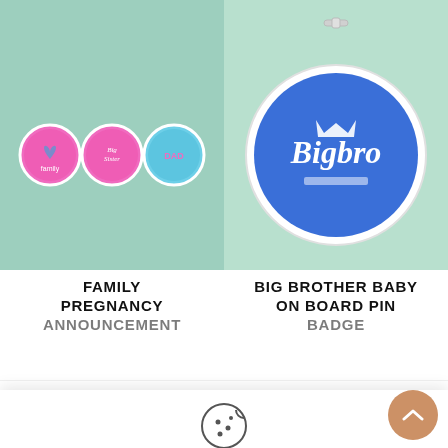[Figure (photo): Product image: three circular pin badges on mint/teal background. Pink badges with heart/family, big sister, and dad text. Light blue badge with DAD text.]
[Figure (photo): Product image: Large blue circular pin badge on mint background with 'Big Bro' script text and crown icon, white pin clasp visible at top.]
FAMILY PREGNANCY ANNOUNCEMENT
BIG BROTHER BABY ON BOARD PIN BADGE
[Figure (illustration): Cookie icon (circle with bite taken out, dots inside) centered above cookie consent text.]
We use cookies on our website to give you the most relevant experience by remembering your preferences and repeat visits. By clicking “Accept All”, you consent to the use of ALL the cookies. However, you may visit ‘Cookie Settings’ to provide a controlled consent.
Cookie Settings
Accept All